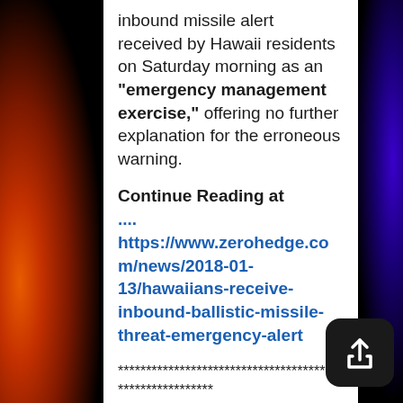inbound missile alert received by Hawaii residents on Saturday morning as an “emergency management exercise,” offering no further explanation for the erroneous warning.
Continue Reading at
.... https://www.zerohedge.com/news/2018-01-13/hawaiians-receive-inbound-ballistic-missile-threat-emergency-alert
********************************************************
****
Hawaii missile alert: False ala… sparks panic in US state